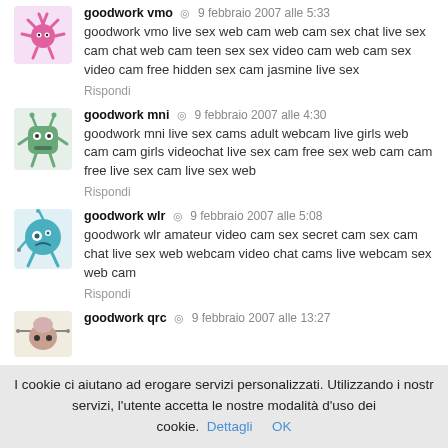[Figure (illustration): Avatar icon: pink spiky creature on light purple background]
goodwork vmo · 9 febbraio 2007 alle 5:33
goodwork vmo live sex web cam web cam sex chat live sex cam chat web cam teen sex sex video cam web cam sex video cam free hidden sex cam jasmine live sex
Rispondi
[Figure (illustration): Avatar icon: green monster cartoon on light green background]
goodwork mni · 9 febbraio 2007 alle 4:30
goodwork mni live sex cams adult webcam live girls web cam cam girls videochat live sex cam free sex web cam cam free live sex cam live sex web
Rispondi
[Figure (illustration): Avatar icon: teal round creature on light blue background]
goodwork wlr · 9 febbraio 2007 alle 5:08
goodwork wlr amateur video cam sex secret cam sex cam chat live sex web webcam video chat cams live webcam sex web cam
Rispondi
[Figure (illustration): Avatar icon: beige robot-like creature on light beige background]
goodwork qrc · 9 febbraio 2007 alle 13:27
I cookie ci aiutano ad erogare servizi personalizzati. Utilizzando i nostri servizi, l'utente accetta le nostre modalità d'uso dei cookie. Dettagli OK